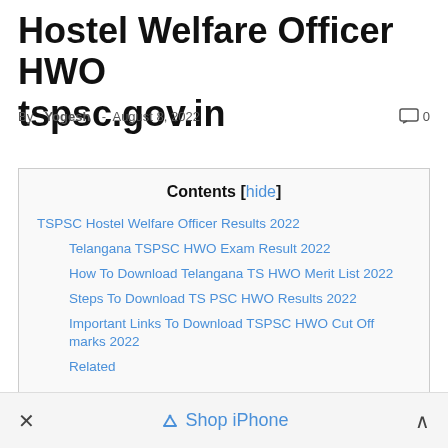Hostel Welfare Officer HWO tspsc.gov.in
By Yogesh - August 8, 2022  0
| Contents |
| --- |
| TSPSC Hostel Welfare Officer Results 2022 |
| Telangana TSPSC HWO Exam Result 2022 |
| How To Download Telangana TS HWO Merit List 2022 |
| Steps To Download TS PSC HWO Results 2022 |
| Important Links To Download TSPSC HWO Cut Off marks 2022 |
| Related |
× Shop iPhone ^